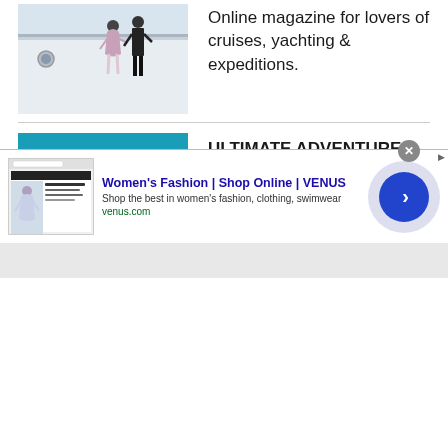[Figure (photo): Two people standing on a yacht deck, partial view of white ship hull]
Online magazine for lovers of cruises, yachting & expeditions.
[Figure (photo): Aerial view of turquoise tropical waters with green forested islands]
ULTIMATE ADVENTURES - Explore the world outdoors
[Figure (screenshot): Ad banner: Women's Fashion | Shop Online | VENUS. Shop the best in women's fashion, clothing, swimwear. venus.com]